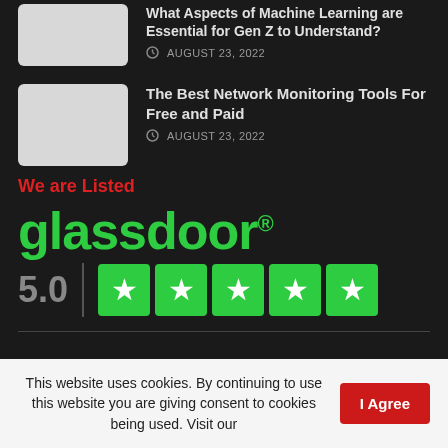[Figure (screenshot): Thumbnail placeholder image (light gray rectangle) for article]
The Best Network Monitoring Tools For Free and Paid
AUGUST 23, 2022
We are Listed
[Figure (logo): Glassdoor logo in green with registered trademark symbol, rating 5.0 with five green star boxes]
This website uses cookies. By continuing to use this website you are giving consent to cookies being used. Visit our
I Agree